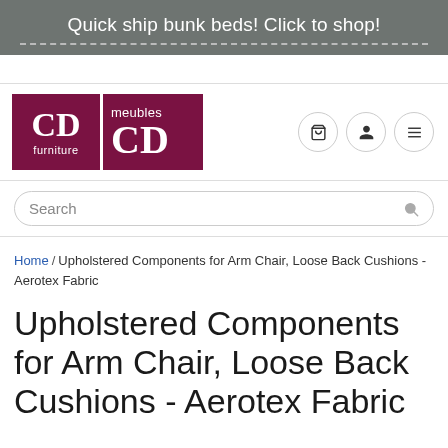Quick ship bunk beds! Click to shop!
[Figure (logo): CD Furniture / Meubles CD logo — two burgundy squares side by side, left shows 'CD furniture' in white, right shows 'meubles CD' in white]
Search
Home / Upholstered Components for Arm Chair, Loose Back Cushions - Aerotex Fabric
Upholstered Components for Arm Chair, Loose Back Cushions - Aerotex Fabric